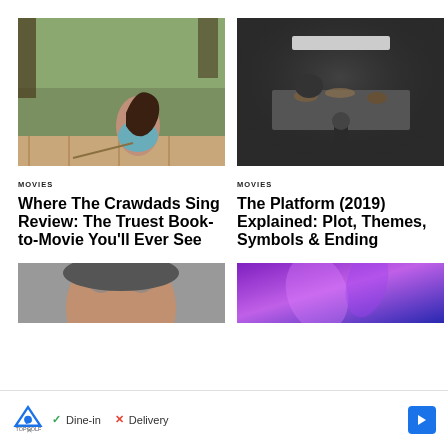[Figure (photo): Young woman in floral dress sitting on wooden dock by water, holding a rope, surrounded by green trees]
[Figure (photo): Dark atmospheric scene showing a figure crouching over a large table covered with food/debris, with another figure on the table above, from The Platform (2019)]
MOVIES
Where The Crawdads Sing Review: The Truest Book-to-Movie You'll Ever See
MOVIES
The Platform (2019) Explained: Plot, Themes, Symbols & Ending
[Figure (photo): Close-up of a man's face, partially visible]
[Figure (photo): Abstract purple and blue glowing background]
[Figure (infographic): Advertisement banner for TopGolf showing Dine-in with checkmark and Delivery with X mark, with a blue arrow icon]